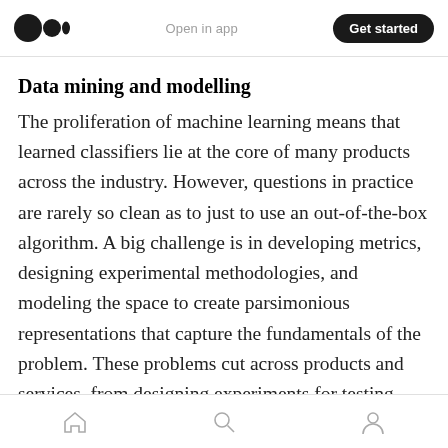Open in app | Get started
Data mining and modelling
The proliferation of machine learning means that learned classifiers lie at the core of many products across the industry. However, questions in practice are rarely so clean as to just to use an out-of-the-box algorithm. A big challenge is in developing metrics, designing experimental methodologies, and modeling the space to create parsimonious representations that capture the fundamentals of the problem. These problems cut across products and services, from designing experiments for testing new auction algorithms
Home | Search | Profile